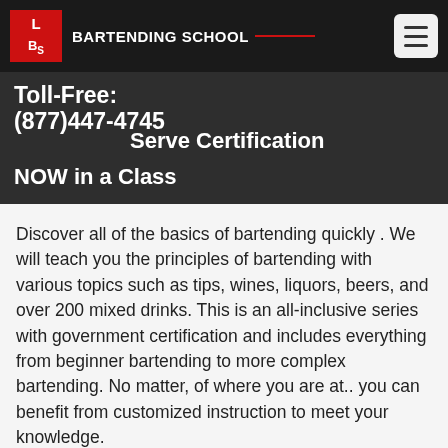BARTENDING SCHOOL
[Figure (logo): LBS Bartending School logo: red box with white letters L, B, S and text BARTENDING SCHOOL beside it, with hamburger menu icon on right]
Toll-Free:
(877)447-4745
Serve Certification NOW in a Class
Discover all of the basics of bartending quickly . We will teach you the principles of bartending with various topics such as tips, wines, liquors, beers, and over 200 mixed drinks. This is an all-inclusive series with government certification and includes everything from beginner bartending to more complex bartending. No matter, of where you are at.. you can benefit from customized instruction to meet your knowledge.